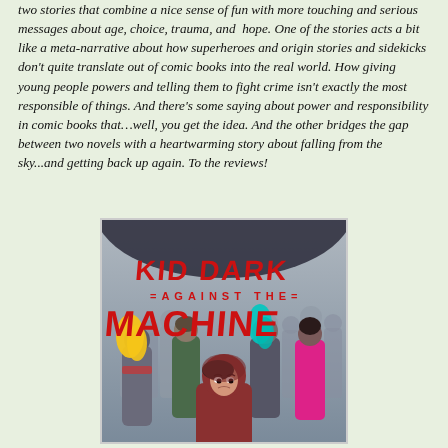two stories that combine a nice sense of fun with more touching and serious messages about age, choice, trauma, and hope. One of the stories acts a bit like a meta-narrative about how superheroes and origin stories and sidekicks don't quite translate out of comic books into the real world. How giving young people powers and telling them to fight crime isn't exactly the most responsible of things. And there's some saying about power and responsibility in comic books that…well, you get the idea. And the other bridges the gap between two novels with a heartwarming story about falling from the sky...and getting back up again. To the reviews!
[Figure (illustration): Book cover for 'Kid Dark Against the Machine' showing stylized comic-book art with a girl in a red hoodie in the foreground and colorful characters behind her including a girl with yellow hair, a figure with teal hair, and a figure in pink. The title text is large red letters.]